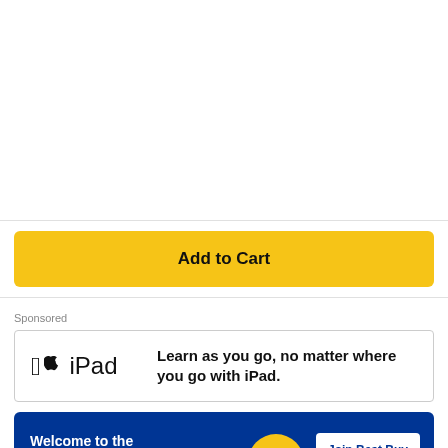[Figure (other): White empty space at top of page, likely product image area]
Add to Cart
Sponsored
[Figure (other): Apple iPad advertisement banner: Apple logo and iPad text on left, tagline 'Learn as you go, no matter where you go with iPad.' on right]
[Figure (other): Best Buy banner ad: 'Welcome to the workplace of tomorrow.' with a yellow circle graphic and 'Join Best Buy' button on dark blue background]